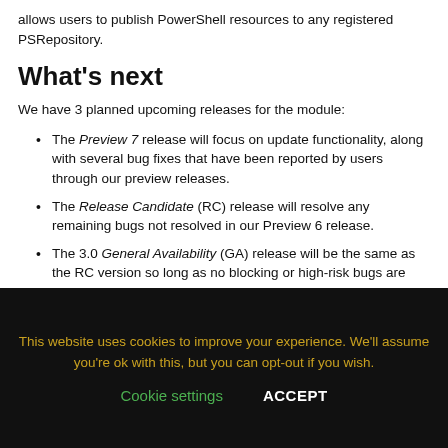allows users to publish PowerShell resources to any registered PSRepository.
What's next
We have 3 planned upcoming releases for the module:
The Preview 7 release will focus on update functionality, along with several bug fixes that have been reported by users through our preview releases.
The Release Candidate (RC) release will resolve any remaining bugs not resolved in our Preview 6 release.
The 3.0 General Availability (GA) release will be the same as the RC version so long as no blocking or high-risk bugs are found in the release candidate. If there are any blocking or
This website uses cookies to improve your experience. We'll assume you're ok with this, but you can opt-out if you wish.
Cookie settings    ACCEPT